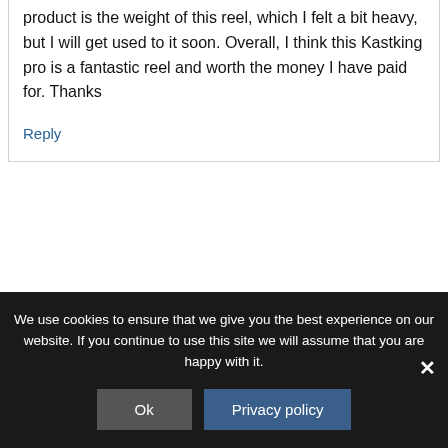product is the weight of this reel, which I felt a bit heavy, but I will get used to it soon. Overall, I think this Kastking pro is a fantastic reel and worth the money I have paid for. Thanks
Reply
Cory Haasnoot
We use cookies to ensure that we give you the best experience on our website. If you continue to use this site we will assume that you are happy with it.